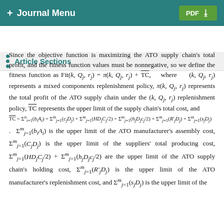+ Journal Menu | PDF (download)
Article Sections
Since the objective function is maximizing the ATO supply chain's total profit, and the fitness function values must be nonnegative, so we define the fitness function as Fit(k, Q_j, r_j) = π(k, Q_j, r_j) + TC̄, where (k, Q_j, r_j) represents a mixed components replenishment policy, π(k, Q_j, r_j) represents the total profit of the ATO supply chain under the (k, Q_j, r_j) replenishment policy, TC̄ represents the upper limit of the supply chain's total cost, and TC̄ = Σ(b_i A_i) + Σ(c_j D_j) + Σ(HD_j C_j/2) + Σ(h_j D_j c_j/2) + Σ(R'_j D_j) + Σ(s_j D_j). Σ(b_i A_i) is the upper limit of the ATO manufacturer's assembly cost, Σ(C_j D_j) is the upper limit of the suppliers' total producing cost, Σ(HD_j C_j/2) + Σ(h_j D_j c_j/2) are the upper limit of the ATO supply chain's holding cost, Σ(R'_j D_j) is the upper limit of the ATO manufacturer's replenishment cost, and Σ(s_j D_j) is the upper limit of the